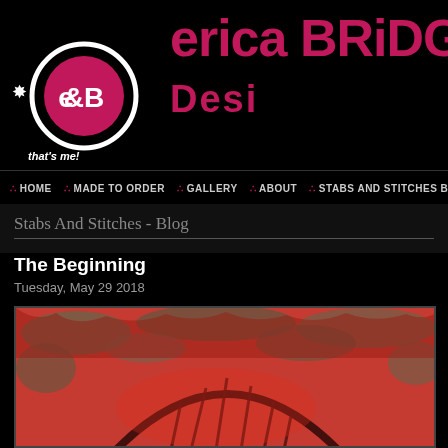[Figure (logo): Erica Bridgwood Designs logo with circular E&B emblem and 'that's me!' text, plus brand name in pink/crimson on black background]
HOME · MADE TO ORDER · GALLERY · ABOUT · STABS AND STITCHES B
Stabs And Stitches - Blog
The Beginning
Tuesday, May 29 2018
[Figure (photo): Close-up photograph of a textile artwork with vivid red and teal/green felted or mixed media surface texture, with dark stitched arch/circle design visible]